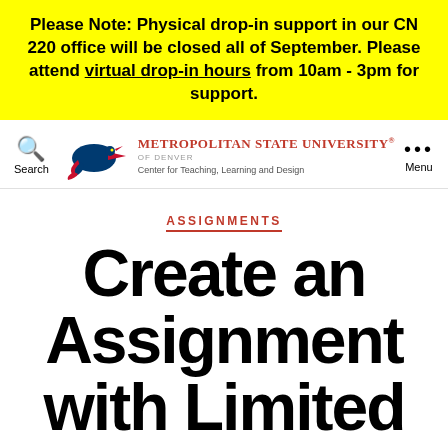Please Note: Physical drop-in support in our CN 220 office will be closed all of September. Please attend virtual drop-in hours from 10am - 3pm for support.
[Figure (logo): Metropolitan State University of Denver logo with roadrunner bird mark, Center for Teaching, Learning and Design]
ASSIGNMENTS
Create an Assignment with Limited